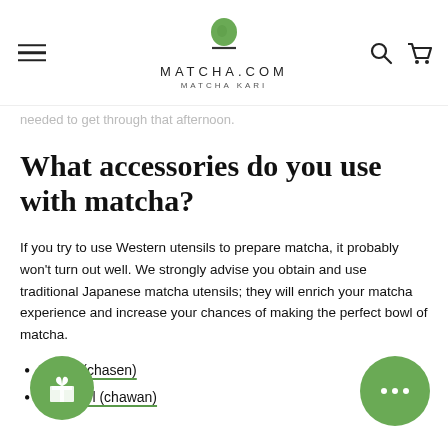MATCHA.COM MATCHA KARI
needed to get through that afternoon.
What accessories do you use with matcha?
If you try to use Western utensils to prepare matcha, it probably won't turn out well. We strongly advise you obtain and use traditional Japanese matcha utensils; they will enrich your matcha experience and increase your chances of making the perfect bowl of matcha.
Whisk (chasen)
Tea bowl (chawan)